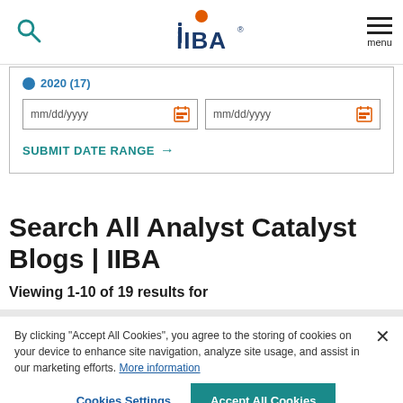IIBA header with search icon, IIBA logo, and menu
[Figure (screenshot): Date filter widget with year tag '2020 (17)', two mm/dd/yyyy date input fields with calendar icons, and a 'SUBMIT DATE RANGE >' link in teal]
Search All Analyst Catalyst Blogs | IIBA
Viewing 1-10 of 19 results for
By clicking “Accept All Cookies”, you agree to the storing of cookies on your device to enhance site navigation, analyze site usage, and assist in our marketing efforts. More information
Cookies Settings  Accept All Cookies